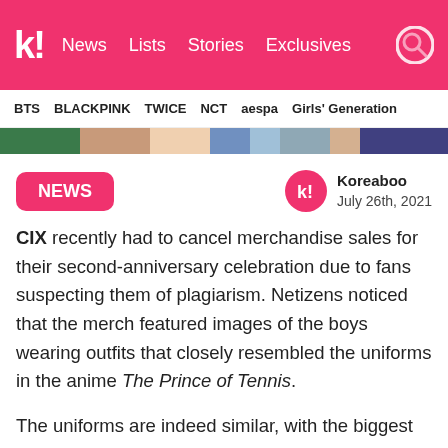k! News Lists Stories Exclusives
BTS BLACKPINK TWICE NCT aespa Girls' Generation
[Figure (photo): Colorful image strip showing partial photos]
NEWS
Koreaboo
July 26th, 2021
CIX recently had to cancel merchandise sales for their second-anniversary celebration due to fans suspecting them of plagiarism. Netizens noticed that the merch featured images of the boys wearing outfits that closely resembled the uniforms in the anime The Prince of Tennis.
The uniforms are indeed similar, with the biggest difference only really being that the red collar line is a bit thicker. The boys were dressed for...